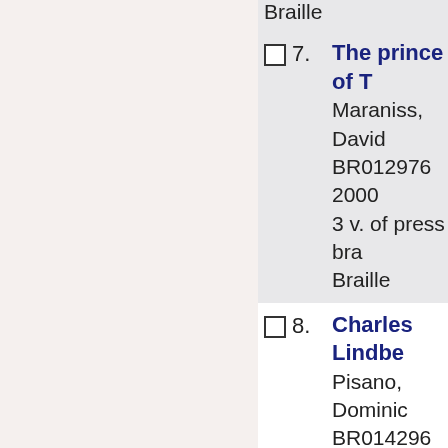Braille (partial, top of page)
7. The prince of T... | Maraniss, David | BR012976 | 2000 | 3 v. of press bra... | Braille
8. Charles Lindbe... | Pisano, Dominic | BR014296 | 2002 | 1 v. of press bra... | Braille
9. The rise of the America, 1875-... | Matthews, Jean | BR014851 | 2003 | 2 v. of press bra... | Braille